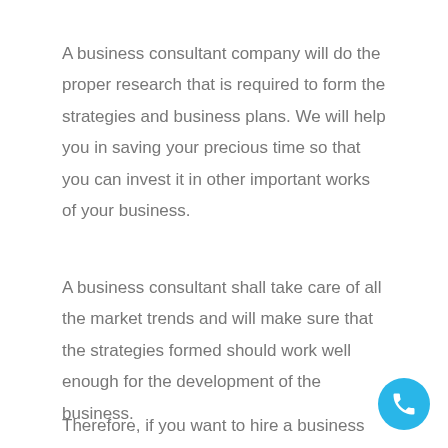A business consultant company will do the proper research that is required to form the strategies and business plans. We will help you in saving your precious time so that you can invest it in other important works of your business.
A business consultant shall take care of all the market trends and will make sure that the strategies formed should work well enough for the development of the business.
Therefore, if you want to hire a business